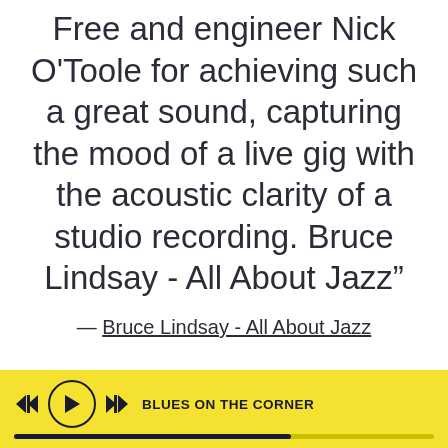Free and engineer Nick O'Toole for achieving such a great sound, capturing the mood of a live gig with the acoustic clarity of a studio recording. Bruce Lindsay - All About Jazz”
— Bruce Lindsay - All About Jazz
“From the opening notes of Blues
BLUES ON THE CORNER